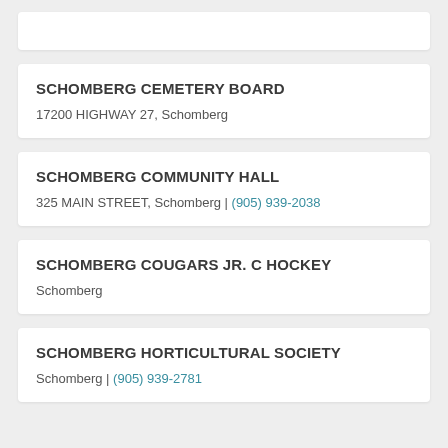SCHOMBERG CEMETERY BOARD
17200 HIGHWAY 27, Schomberg
SCHOMBERG COMMUNITY HALL
325 MAIN STREET, Schomberg | (905) 939-2038
SCHOMBERG COUGARS JR. C HOCKEY
Schomberg
SCHOMBERG HORTICULTURAL SOCIETY
Schomberg | (905) 939-2781